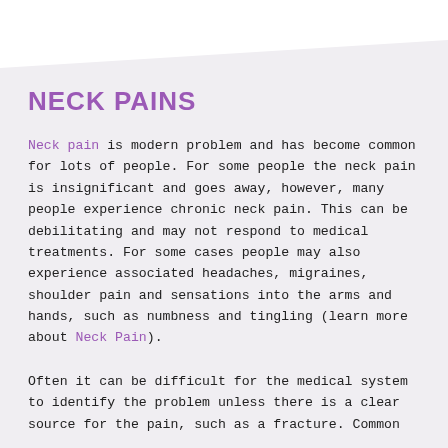NECK PAINS
Neck pain is modern problem and has become common for lots of people. For some people the neck pain is insignificant and goes away, however, many people experience chronic neck pain. This can be debilitating and may not respond to medical treatments. For some cases people may also experience associated headaches, migraines, shoulder pain and sensations into the arms and hands, such as numbness and tingling (learn more about Neck Pain).
Often it can be difficult for the medical system to identify the problem unless there is a clear source for the pain, such as a fracture. Common